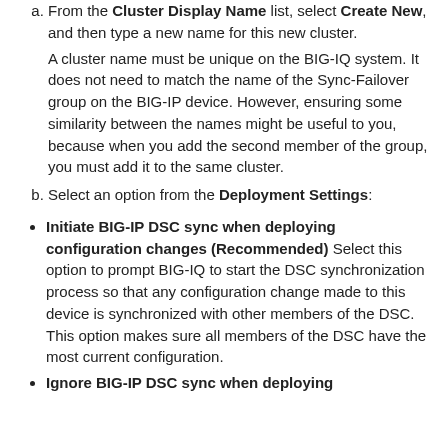a. From the Cluster Display Name list, select Create New, and then type a new name for this new cluster. A cluster name must be unique on the BIG-IQ system. It does not need to match the name of the Sync-Failover group on the BIG-IP device. However, ensuring some similarity between the names might be useful to you, because when you add the second member of the group, you must add it to the same cluster.
b. Select an option from the Deployment Settings:
Initiate BIG-IP DSC sync when deploying configuration changes (Recommended) Select this option to prompt BIG-IQ to start the DSC synchronization process so that any configuration change made to this device is synchronized with other members of the DSC. This option makes sure all members of the DSC have the most current configuration.
Ignore BIG-IP DSC sync when deploying